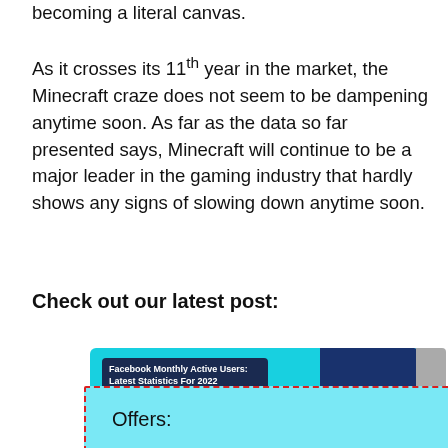becoming a literal canvas.
As it crosses its 11th year in the market, the Minecraft craze does not seem to be dampening anytime soon. As far as the data so far presented says, Minecraft will continue to be a major leader in the gaming industry that hardly shows any signs of slowing down anytime soon.
Check out our latest post:
[Figure (screenshot): A screenshot of a blog post card for 'Facebook Monthly Active Users: Latest Statistics For 2022' on a teal background, with a dark blue silhouette graphic on the right and a popup overlay with dashed red border showing 'Offers:' text and a close (×) button.]